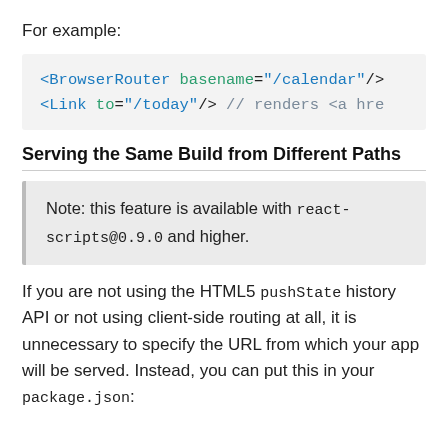For example:
[Figure (screenshot): Code block showing: <BrowserRouter basename="/calendar"/> and <Link to="/today"/> // renders <a hre]
Serving the Same Build from Different Paths
Note: this feature is available with react-scripts@0.9.0 and higher.
If you are not using the HTML5 pushState history API or not using client-side routing at all, it is unnecessary to specify the URL from which your app will be served. Instead, you can put this in your package.json: